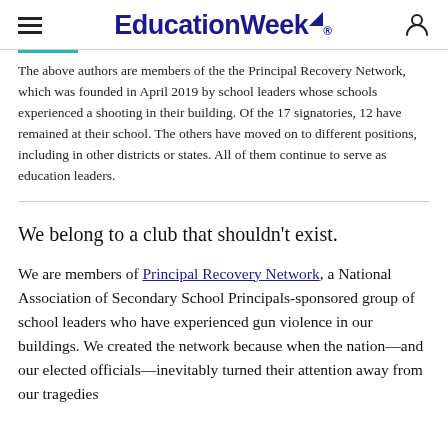EducationWeek
The above authors are members of the the Principal Recovery Network, which was founded in April 2019 by school leaders whose schools experienced a shooting in their building. Of the 17 signatories, 12 have remained at their school. The others have moved on to different positions, including in other districts or states. All of them continue to serve as education leaders.
We belong to a club that shouldn't exist.
We are members of Principal Recovery Network, a National Association of Secondary School Principals-sponsored group of school leaders who have experienced gun violence in our buildings. We created the network because when the nation—and our elected officials—inevitably turned their attention away from our tragedies and felt the pressure of our own communities to look ahead,